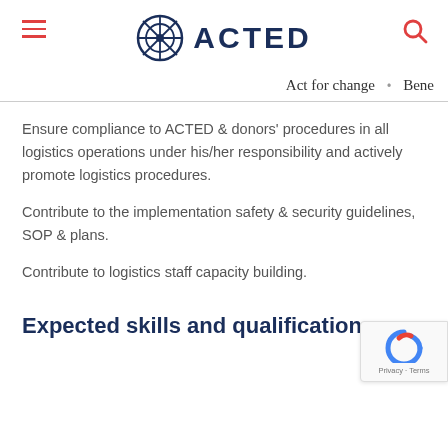ACTED (logo with navigation menu and search icon)
Act for change  •  Bene
Ensure compliance to ACTED & donors' procedures in all logistics operations under his/her responsibility and actively promote logistics procedures.
Contribute to the implementation safety & security guidelines, SOP & plans.
Contribute to logistics staff capacity building.
Expected skills and qualifications